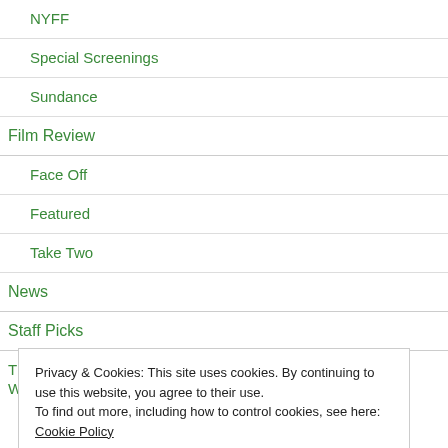NYFF
Special Screenings
Sundance
Film Review
Face Off
Featured
Take Two
News
Staff Picks
Privacy & Cookies: This site uses cookies. By continuing to use this website, you agree to their use.
To find out more, including how to control cookies, see here: Cookie Policy
Close and accept